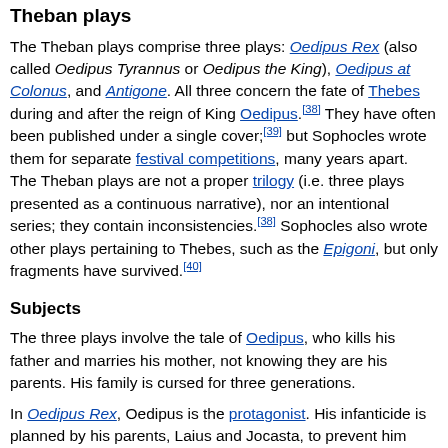Theban plays
The Theban plays comprise three plays: Oedipus Rex (also called Oedipus Tyrannus or Oedipus the King), Oedipus at Colonus, and Antigone. All three concern the fate of Thebes during and after the reign of King Oedipus.[38] They have often been published under a single cover;[39] but Sophocles wrote them for separate festival competitions, many years apart. The Theban plays are not a proper trilogy (i.e. three plays presented as a continuous narrative), nor an intentional series; they contain inconsistencies.[38] Sophocles also wrote other plays pertaining to Thebes, such as the Epigoni, but only fragments have survived.[40]
Subjects
The three plays involve the tale of Oedipus, who kills his father and marries his mother, not knowing they are his parents. His family is cursed for three generations.
In Oedipus Rex, Oedipus is the protagonist. His infanticide is planned by his parents, Laius and Jocasta, to prevent him fulfilling a prophecy; but the servant entrusted with the infanticide passes the infant on, through a series of intermediaries, to a childless couple, who adopt him, not knowing his history. Oedipus eventually learns of the Delphic Oracle's prophecy of his birth and...